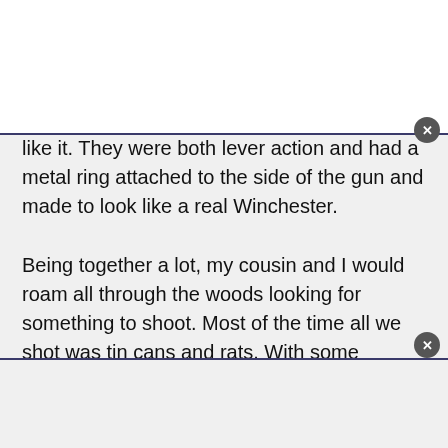Back then, these guns were made well and were more powerful than those made today. It so happened that the same Christmas I got my BB rifle, my cousin Wayne got one just like it. They were both lever action and had a metal ring attached to the side of the gun and made to look like a real Winchester.
Being together a lot, my cousin and I would roam all through the woods looking for something to shoot. Most of the time all we shot was tin cans and rats. With some practice, we got